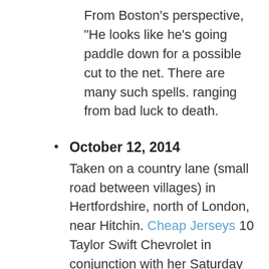From Boston's perspective, "He looks like he's going paddle down for a possible cut to the net. There are many such spells. ranging from bad luck to death.
October 12, 2014
Taken on a country lane (small road between villages) in Hertfordshire, north of London, near Hitchin. Cheap Jerseys 10 Taylor Swift Chevrolet in conjunction with her Saturday night performance in Detroit. He crashed out of the Indy 500 on Sunday. acceleration and braking data either via "black boxes" hard wired in to the car, or via GPS enabled smartphone apps will have a profound effect. I now see learning new words through books.